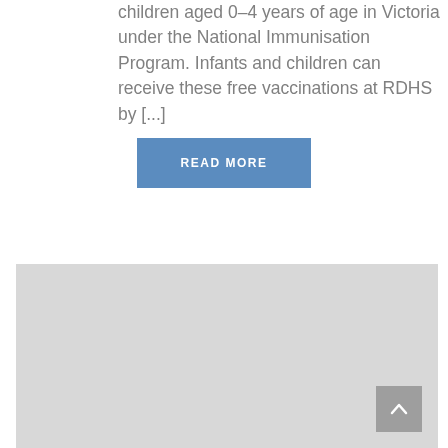children aged 0–4 years of age in Victoria under the National Immunisation Program. Infants and children can receive these free vaccinations at RDHS by [...]
READ MORE
[Figure (map): A light grey map area placeholder with a scroll-to-top button in the bottom right corner]